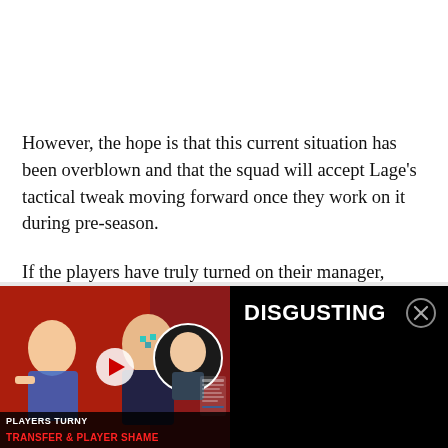However, the hope is that this current situation has been overblown and that the squad will accept Lage's tactical tweak moving forward once they work on it during pre-season.
If the players have truly turned on their manager, though, it is easy to envisage a scenario where it eventually leads to his demise, which would feel harsh given the good job he has done so far at Molineux, improving considerably on
[Figure (screenshot): Video overlay showing a YouTube thumbnail with people, a play button, text 'PLAYERS TURNY' and 'TRANSFER & PLAYER SHAME' in red, and the title 'DISGUSTING' in white on black background with a close button.]